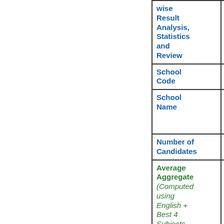|  |  |
| --- | --- |
| wise Result Analysis, Statistics and Review |  |
| School Code | SCHOOL CODE |
| School Name | J N V MOUNT PANCHGHAR |
| Number of Candidates | 70 |
| Average Aggregate (Computed using English + Best 4 Subjects wherever | 83.27 |